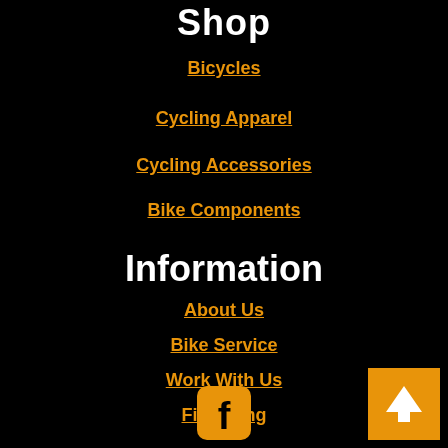Shop
Bicycles
Cycling Apparel
Cycling Accessories
Bike Components
Information
About Us
Bike Service
Work With Us
Financing
[Figure (logo): Facebook icon - orange rounded square with white 'f' letter]
[Figure (other): Back to top button - orange square with white upward arrow]